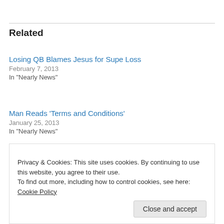Related
Losing QB Blames Jesus for Supe Loss
February 7, 2013
In "Nearly News"
Man Reads ‘Terms and Conditions’
January 25, 2013
In "Nearly News"
News Briefs for January 18, 2013
January 18, 2013
Privacy & Cookies: This site uses cookies. By continuing to use this website, you agree to their use.
To find out more, including how to control cookies, see here: Cookie Policy
Close and accept